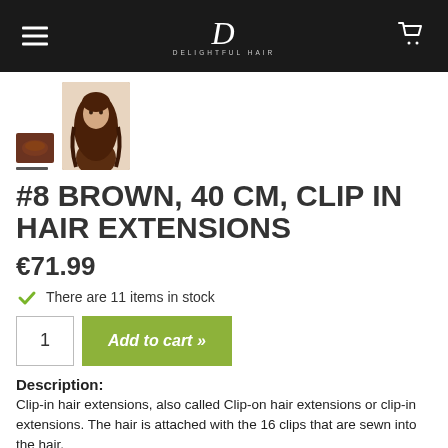Delightful Hair — navigation header with logo
[Figure (photo): Product thumbnail images: small brown hair swatch and a woman with long brown wavy hair]
#8 BROWN, 40 CM, CLIP IN HAIR EXTENSIONS
€71.99
There are 11 items in stock
1  Add to cart »
Description:
Clip-in hair extensions, also called Clip-on hair extensions or clip-in extensions. The hair is attached with the 16 clips that are sewn into the hair.
Colour #8 Brown (also called 5.4 Copper Brown)